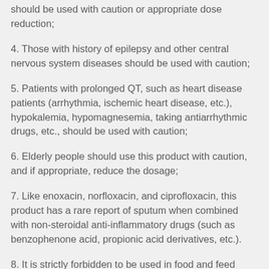should be used with caution or appropriate dose reduction;
4. Those with history of epilepsy and other central nervous system diseases should be used with caution;
5. Patients with prolonged QT, such as heart disease patients (arrhythmia, ischemic heart disease, etc.), hypokalemia, hypomagnesemia, taking antiarrhythmic drugs, etc., should be used with caution;
6. Elderly people should use this product with caution, and if appropriate, reduce the dosage;
7. Like enoxacin, norfloxacin, and ciprofloxacin, this product has a rare report of sputum when combined with non-steroidal anti-inflammatory drugs (such as benzophenone acid, propionic acid derivatives, etc.).
8. It is strictly forbidden to be used in food and feed processing.
[Pregnant women and lactating women] Pregnant